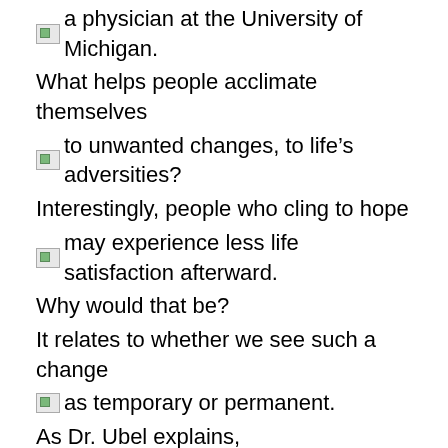a physician at the University of Michigan.
What helps people acclimate themselves
to unwanted changes, to life’s adversities?
Interestingly, people who cling to hope
may experience less life satisfaction afterward.
Why would that be?
It relates to whether we see such a change
as temporary or permanent.
As Dr. Ubel explains,
“If your condition is temporary, you’re thinking,
‘I can’t wait until I get rid of this.’”
Ubel believes such thinking keeps one
from moving on with life
and focusing on the good that remains.